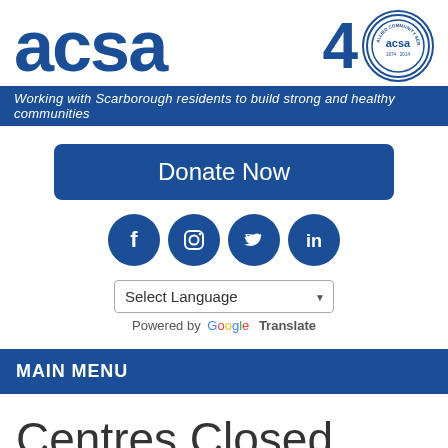[Figure (logo): ACSA logo with large blue text 'acsa' and 40th anniversary circular badge with inner circle containing 'acsa' text]
Working with Scarborough residents to build strong and healthy communities
[Figure (other): Donate Now button - rounded rectangle blue button]
[Figure (other): Social media icons: Facebook, Instagram, Twitter, LinkedIn - all in dark blue circles]
Select Language
Powered by Google Translate
MAIN MENU
Centres Closed